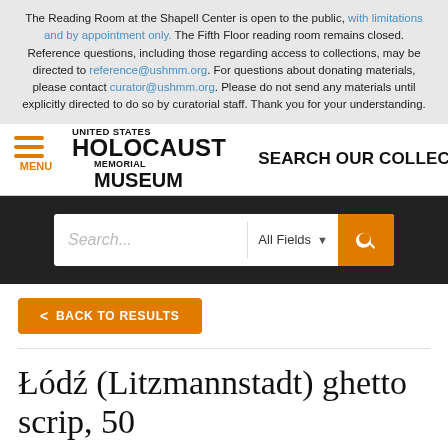The Reading Room at the Shapell Center is open to the public, with limitations and by appointment only. The Fifth Floor reading room remains closed. Reference questions, including those regarding access to collections, may be directed to reference@ushmm.org. For questions about donating materials, please contact curator@ushmm.org. Please do not send any materials until explicitly directed to do so by curatorial staff. Thank you for your understanding.
[Figure (logo): United States Holocaust Memorial Museum logo with hamburger menu icon and SEARCH OUR COLLECTIONS text]
[Figure (screenshot): Search bar with placeholder text 'Search...', All Fields dropdown, and orange search button]
< BACK TO RESULTS
Łódź (Litzmannstadt) ghetto scrip, 50